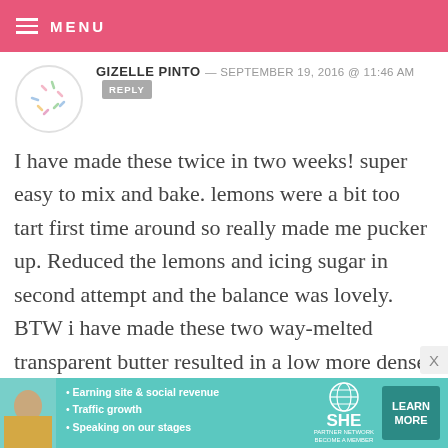MENU
GIZELLE PINTO — SEPTEMBER 19, 2016 @ 11:46 AM  REPLY
I have made these twice in two weeks! super easy to mix and bake. lemons were a bit too tart first time around so really made me pucker up. Reduced the lemons and icing sugar in second attempt and the balance was lovely. BTW i have made these two way- melted transparent butter resulted in a low more dense sort of cake. Moist and flavorful and not fudgy but packed in.
[Figure (infographic): SHE Partner Network advertisement banner with photo of woman, bullet points: Earning site & social revenue, Traffic growth, Speaking on our stages, and a LEARN MORE button]